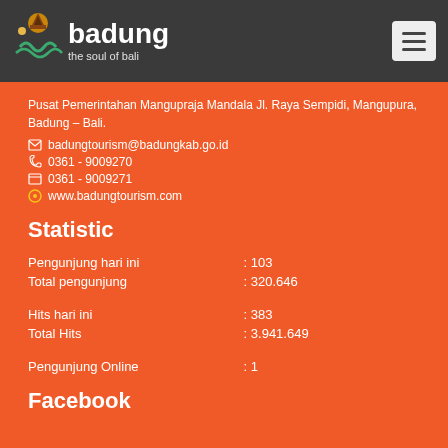[Figure (logo): Badung 'the soul of bali' tourism logo with stylized temple and wave icon]
Pusat Pemerintahan Mangupraja Mandala Jl. Raya Sempidi, Mangupura, Badung – Bali.
badungtourism@badungkab.go.id
0361 - 9009270
0361 - 9009271
www.badungtourism.com
Statistic
| Pengunjung hari ini | : 103 |
| Total pengunjung | : 320.646 |
|  |  |
| Hits hari ini | : 383 |
| Total Hits | : 3.941.649 |
|  |  |
| Pengunjung Online | : 1 |
Facebook